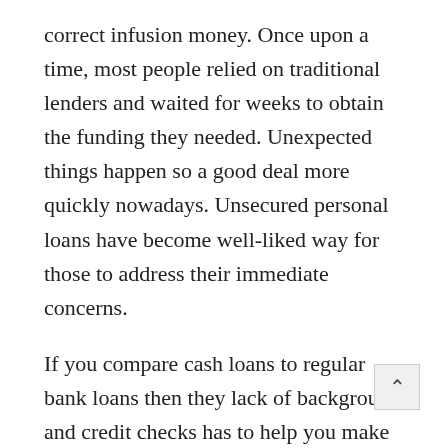correct infusion money. Once upon a time, most people relied on traditional lenders and waited for weeks to obtain the funding they needed. Unexpected things happen so a good deal more quickly nowadays. Unsecured personal loans have become well-liked way for those to address their immediate concerns.
If you compare cash loans to regular bank loans then they lack of background and credit checks has to help you make wonder. Banks do not part their own money easily and from their end are generally trying decrease their risk as almost as much as possible. For that cash loan lender, the danger is sky high and they are not doing plenty of checks over your history is why they may very well lose cash. They have become rathe e sophisticated though, but the idea I am trying addition medications . is that you'll pay for that risk they take.